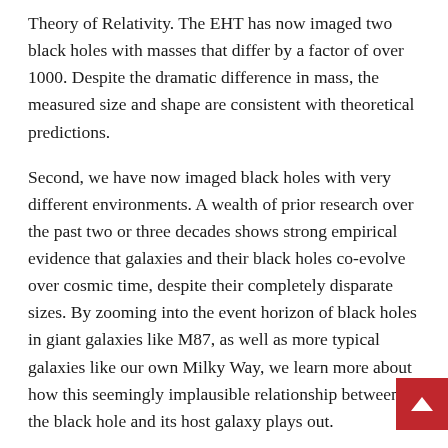Theory of Relativity. The EHT has now imaged two black holes with masses that differ by a factor of over 1000. Despite the dramatic difference in mass, the measured size and shape are consistent with theoretical predictions.
Second, we have now imaged black holes with very different environments. A wealth of prior research over the past two or three decades shows strong empirical evidence that galaxies and their black holes co-evolve over cosmic time, despite their completely disparate sizes. By zooming into the event horizon of black holes in giant galaxies like M87, as well as more typical galaxies like our own Milky Way, we learn more about how this seemingly implausible relationship between the black hole and its host galaxy plays out.
Third, the image provides us with new insights on the central black hole in our own galactic home. It is the nearest such beast to Earth, so it provides a unique laboratory to understand this interplay — not unlike scrutinising a tree in your own garden to better